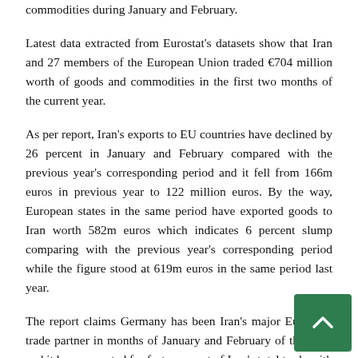commodities during January and February.
Latest data extracted from Eurostat's datasets show that Iran and 27 members of the European Union traded €704 million worth of goods and commodities in the first two months of the current year.
As per report, Iran's exports to EU countries have declined by 26 percent in January and February compared with the previous year's corresponding period and it fell from 166m euros in previous year to 122 million euros. By the way, European states in the same period have exported goods to Iran worth 582m euros which indicates 6 percent slump comparing with the previous year's corresponding period while the figure stood at 619m euros in the same period last year.
The report claims Germany has been Iran's major European trade partner in months of January and February of this year and it has accounted for forty percent of Iran's total trade with EU.
Germany has exported goods and commodities worth 240m euros and imported goods worth 41m euros from Iran in this two-month period.